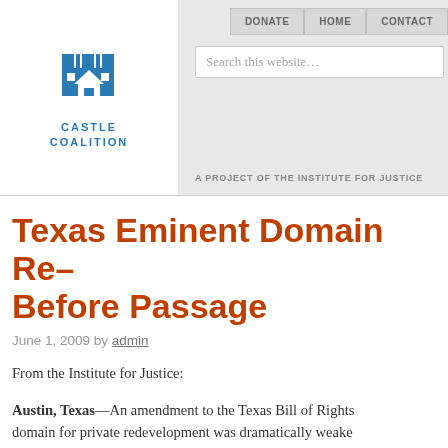Castle Coalition | A Project of the Institute for Justice
Texas Eminent Domain Reform Before Passage
June 1, 2009 by admin
From the Institute for Justice:
Austin, Texas—An amendment to the Texas Bill of Rights banning eminent domain for private redevelopment was dramatically weakened Sunday night, according to the Institute for Justice Texas Chapter, which tracked the legislation all session. House Joint Resolution 14, which passed both chambers, was heavily revised by the joint House and Senate committee